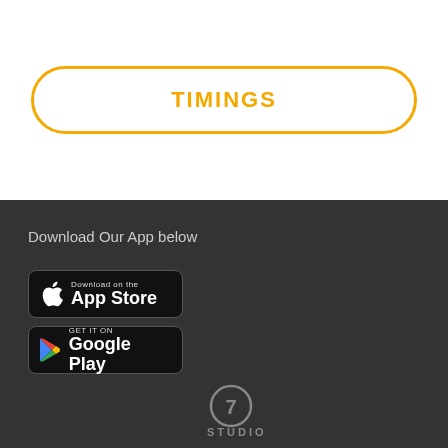TIMINGS
Download Our App below
[Figure (logo): Download on the App Store button - black rounded rectangle with Apple logo and text]
[Figure (logo): Get it on Google Play button - black rounded rectangle with Google Play triangle logo and text]
[Figure (logo): Studio 7 logo - circular grey logo with the number 7 and text STUDIO 7 below]